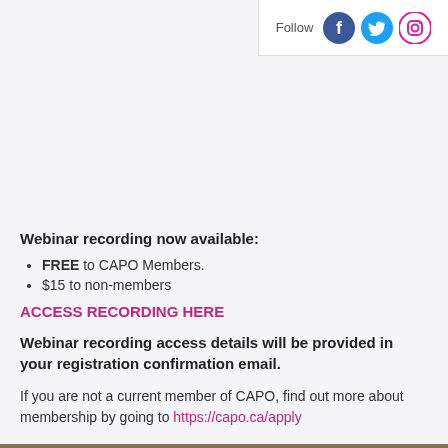Follow [Facebook] [Twitter] [Instagram]
Webinar recording now available:
FREE to CAPO Members.
$15 to non-members
ACCESS RECORDING HERE
Webinar recording access details will be provided in your registration confirmation email.
If you are not a current member of CAPO, find out more about membership by going to https://capo.ca/apply